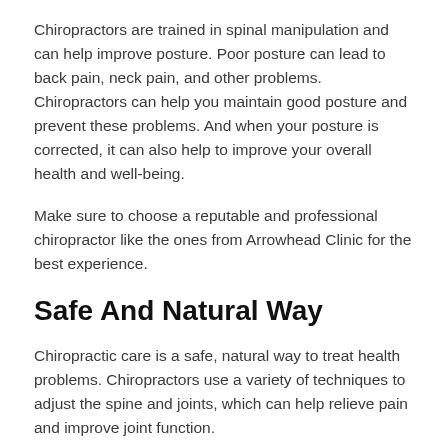Chiropractors are trained in spinal manipulation and can help improve posture. Poor posture can lead to back pain, neck pain, and other problems. Chiropractors can help you maintain good posture and prevent these problems. And when your posture is corrected, it can also help to improve your overall health and well-being.
Make sure to choose a reputable and professional chiropractor like the ones from Arrowhead Clinic for the best experience.
Safe And Natural Way
Chiropractic care is a safe, natural way to treat health problems. Chiropractors use a variety of techniques to adjust the spine and joints, which can help relieve pain and improve joint function.